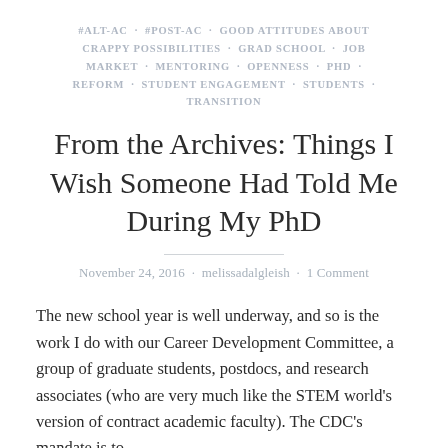#ALT-AC · #POST-AC · GOOD ATTITUDES ABOUT CRAPPY POSSIBILITIES · GRAD SCHOOL · JOB MARKET · MENTORING · OPENNESS · PHD · REFORM · STUDENT ENGAGEMENT · STUDENTS · TRANSITION
From the Archives: Things I Wish Someone Had Told Me During My PhD
November 24, 2016 · melissadalgleish · 1 Comment
The new school year is well underway, and so is the work I do with our Career Development Committee, a group of graduate students, postdocs, and research associates (who are very much like the STEM world's version of contract academic faculty). The CDC's mandate is to